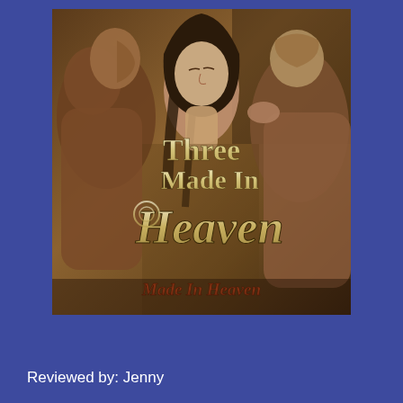[Figure (illustration): Book cover for 'Three Made In Heaven' from the Made In Heaven series. Shows three figures (two men and a woman) in an intimate pose with warm sepia/gold tones. Title text reads 'Three Made In Heaven' in large serif/script lettering, and 'Made In Heaven' in decorative script at the bottom of the cover.]
Reviewed by: Jenny